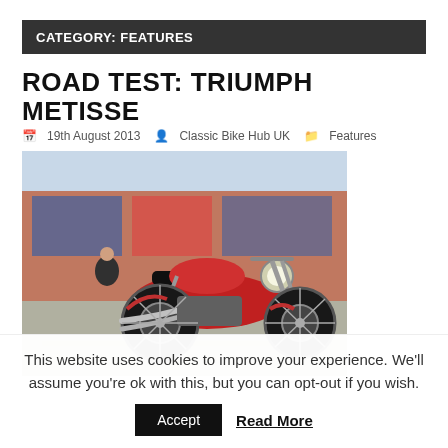CATEGORY: FEATURES
ROAD TEST: TRIUMPH METISSE
19th August 2013  Classic Bike Hub UK  Features
[Figure (photo): Photo of a red Triumph Metisse motorcycle parked on a street, with a person sitting in the background near a brick building with shop windows.]
This website uses cookies to improve your experience. We'll assume you're ok with this, but you can opt-out if you wish.
Accept  Read More